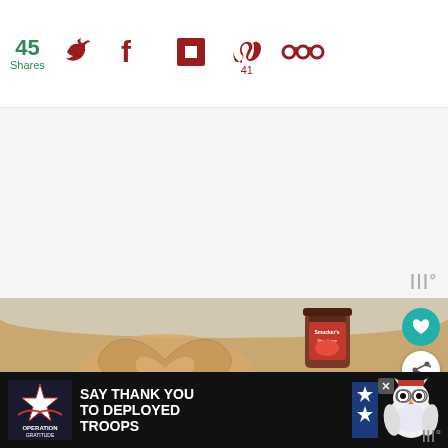45 Shares — social sharing bar with Twitter, Facebook, Flipboard, Pinterest (41), and more icons
[Figure (photo): Advertisement banner area (light gray background with watermark logo)]
[Figure (photo): Food/recipe photo: dough rolled out on a surface with a heart-shaped cookie cutter imprint, and a Smucker's strawberry jam jar in background. Overlay buttons (heart/save and share) and 'What's Next' card showing 'Easy Pumpkin Spice Cake...']
[Figure (photo): Bottom advertisement banner: black background with 'Operation Gratitude' logo and text 'SAY THANK YOU TO DEPLOYED TROOPS', military/patriotic mascot owl graphic, close button, and watermark.]